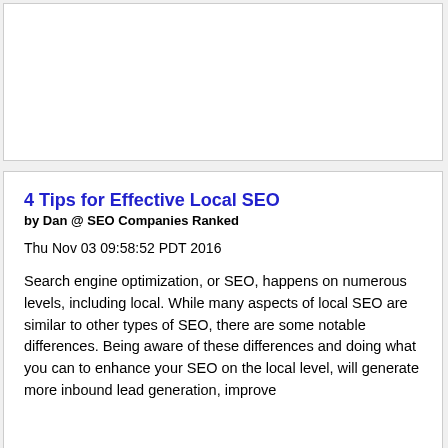[Figure (other): Empty white box area at top of page, likely an advertisement or image placeholder]
4 Tips for Effective Local SEO
by Dan @ SEO Companies Ranked
Thu Nov 03 09:58:52 PDT 2016
Search engine optimization, or SEO, happens on numerous levels, including local. While many aspects of local SEO are similar to other types of SEO, there are some notable differences. Being aware of these differences and doing what you can to enhance your SEO on the local level, will generate more inbound lead generation, improve